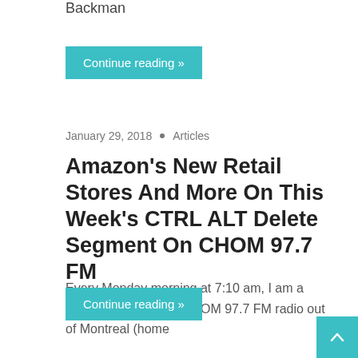Backman
Continue reading »
January 29, 2018  •  Articles
Amazon's New Retail Stores And More On This Week's CTRL ALT Delete Segment On CHOM 97.7 FM
Every Monday morning at 7:10 am, I am a guest contributor on CHOM 97.7 FM radio out of Montreal (home
Continue reading »